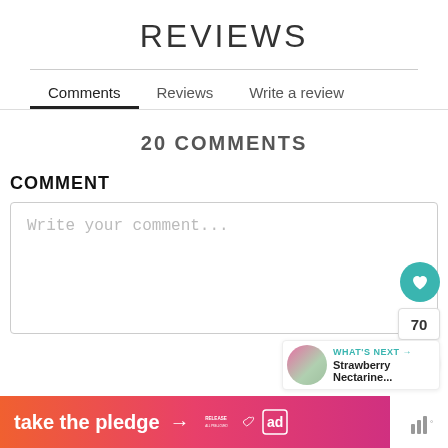REVIEWS
Comments   Reviews   Write a review
20 COMMENTS
COMMENT
Write your comment...
70
WHAT'S NEXT → Strawberry Nectarine...
[Figure (infographic): Banner ad: 'take the pledge' with arrow, Release logo, Ed logo, and sound wave icon]